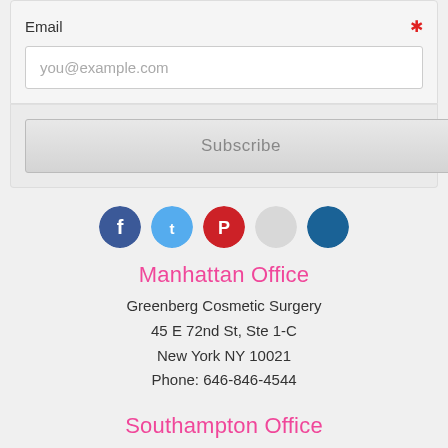Email *
you@example.com
Subscribe
[Figure (infographic): Row of social media icon buttons: blue like/Facebook, blue Twitter, red Pinterest, light grey circle icon, dark blue circle icon]
Manhattan Office
Greenberg Cosmetic Surgery
45 E 72nd St, Ste 1-C
New York NY 10021
Phone: 646-846-4544
Southampton Office
Greenberg Cosmetic Surgery